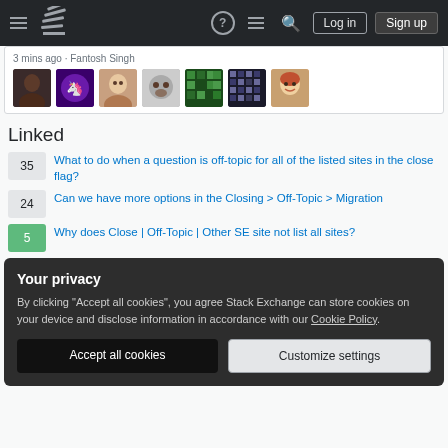Stack Exchange navigation bar with Log in and Sign up buttons
[Figure (screenshot): User avatars section with timestamp '3 mins ago · Fantosh Singh' and 7 user avatar images]
Linked
35 — What to do when a question is off-topic for all of the listed sites in the close flag?
24 — Can we have more options in the Closing > Off-Topic > Migration
5 — Why does Close | Off-Topic | Other SE site not list all sites?
Your privacy
By clicking "Accept all cookies", you agree Stack Exchange can store cookies on your device and disclose information in accordance with our Cookie Policy.
[Accept all cookies] [Customize settings]